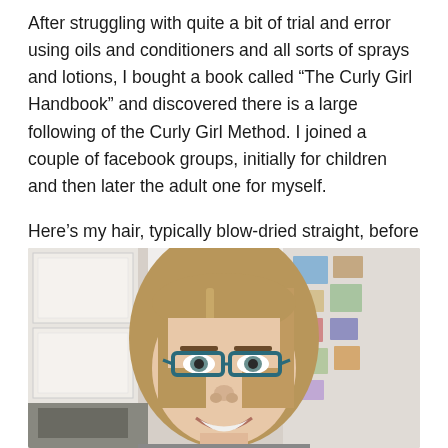After struggling with quite a bit of trial and error using oils and conditioners and all sorts of sprays and lotions, I bought a book called “The Curly Girl Handbook” and discovered there is a large following of the Curly Girl Method. I joined a couple of facebook groups, initially for children and then later the adult one for myself.

Here’s my hair, typically blow-dried straight, before I started my transition to “Curly Girl”:
[Figure (photo): A selfie of a smiling woman with straight, shoulder-length light brown hair, wearing blue-framed glasses, standing in a kitchen with white cabinets and a refrigerator covered in magnets and photos in the background.]